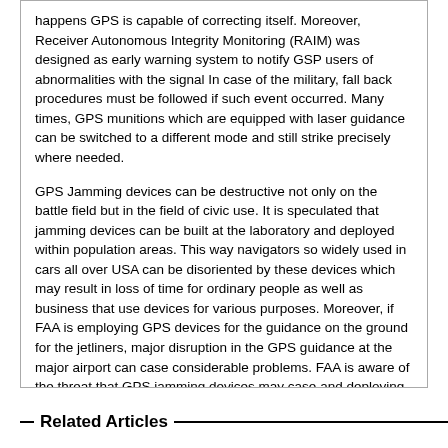happens GPS is capable of correcting itself. Moreover, Receiver Autonomous Integrity Monitoring (RAIM) was designed as early warning system to notify GSP users of abnormalities with the signal In case of the military, fall back procedures must be followed if such event occurred. Many times, GPS munitions which are equipped with laser guidance can be switched to a different mode and still strike precisely where needed.
GPS Jamming devices can be destructive not only on the battle field but in the field of civic use. It is speculated that jamming devices can be built at the laboratory and deployed within population areas. This way navigators so widely used in cars all over USA can be disoriented by these devices which may result in loss of time for ordinary people as well as business that use devices for various purposes. Moreover, if FAA is employing GPS devices for the guidance on the ground for the jetliners, major disruption in the GPS guidance at the major airport can case considerable problems. FAA is aware of the threat that GPS jamming devices may case and deploying countermeasures which suppose to ease public safety concerns at the airports.
The GPS jammers are illegal throughout the European Union. It's certain that US will follow the suite, but global demand for such devices can spur development of the new devices in countries such as Taiwan and Far East where technology is available and expertise is accessible.
Related Articles